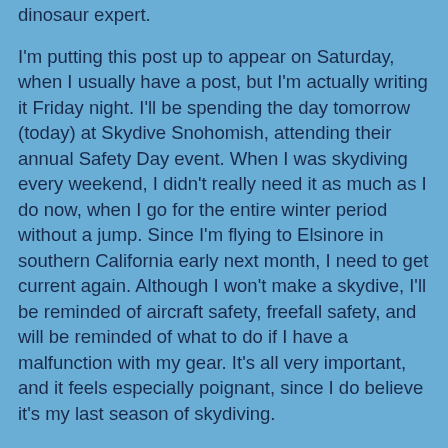dinosaur expert.
I'm putting this post up to appear on Saturday, when I usually have a post, but I'm actually writing it Friday night. I'll be spending the day tomorrow (today) at Skydive Snohomish, attending their annual Safety Day event. When I was skydiving every weekend, I didn't really need it as much as I do now, when I go for the entire winter period without a jump. Since I'm flying to Elsinore in southern California early next month, I need to get current again. Although I won't make a skydive, I'll be reminded of aircraft safety, freefall safety, and will be reminded of what to do if I have a malfunction with my gear. It's all very important, and it feels especially poignant, since I do believe it's my last season of skydiving.
About my infected hangnail: my visit to the Physician's Assistant, Keith, was not a whole lot of fun, but he did drain the finger and gave me a topical antibiotic to put on it after I give it a good soak three times a day. He also prescribed an oral antibiotic to take if this doesn't clear it up in a few days, but I can wait to see if this works. He said that the infection was getting better but it wouldn't hurt to get the stuff out. (He...